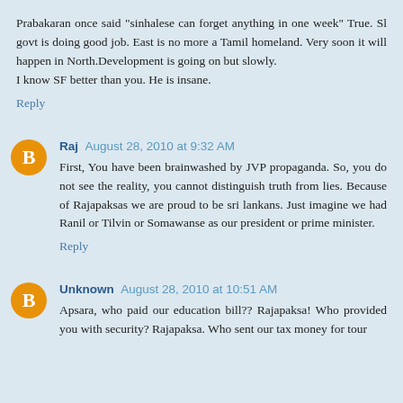Prabakaran once said "sinhalese can forget anything in one week" True. Sl govt is doing good job. East is no more a Tamil homeland. Very soon it will happen in North.Development is going on but slowly.
I know SF better than you. He is insane.
Reply
Raj  August 28, 2010 at 9:32 AM
First, You have been brainwashed by JVP propaganda. So, you do not see the reality, you cannot distinguish truth from lies. Because of Rajapaksas we are proud to be sri lankans. Just imagine we had Ranil or Tilvin or Somawanse as our president or prime minister.
Reply
Unknown  August 28, 2010 at 10:51 AM
Apsara, who paid our education bill?? Rajapaksa! Who provided you with security? Rajapaksa. Who sent our tax money for tour